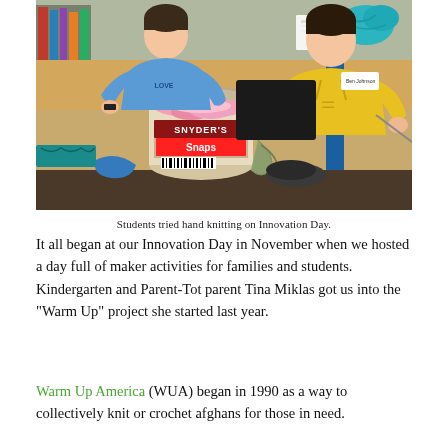[Figure (photo): Two children hand knitting at a wooden table. A large Snyder's Snaps jar filled with pink yarn is in the foreground. A boy in a blue shirt is on the left and a boy in a yellow hoodie is on the right. Yarn, fabric, and craft supplies are on the tables.]
Students tried hand knitting on Innovation Day.
It all began at our Innovation Day in November when we hosted a day full of maker activities for families and students. Kindergarten and Parent-Tot parent Tina Miklas got us into the "Warm Up" project she started last year.
Warm Up America (WUA) began in 1990 as a way to collectively knit or crochet afghans for those in need.